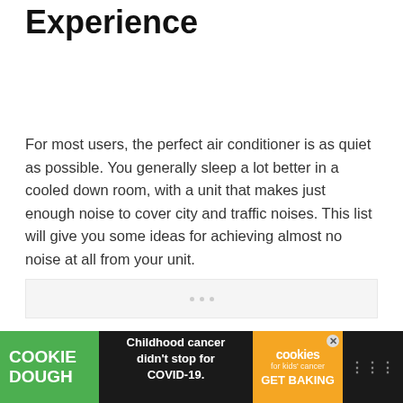Experience
For most users, the perfect air conditioner is as quiet as possible. You generally sleep a lot better in a cooled down room, with a unit that makes just enough noise to cover city and traffic noises. This list will give you some ideas for achieving almost no noise at all from your unit.
[Figure (other): Advertisement banner: Cookie Dough / Childhood cancer didn't stop for COVID-19. / cookies for kids' cancer GET BAKING]